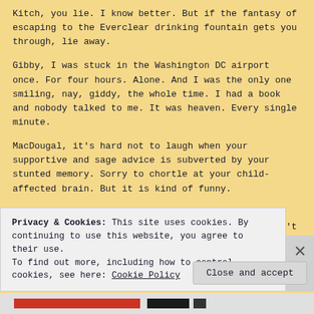Kitch, you lie. I know better. But if the fantasy of escaping to the Everclear drinking fountain gets you through, lie away.
Gibby, I was stuck in the Washington DC airport once. For four hours. Alone. And I was the only one smiling, nay, giddy, the whole time. I had a book and nobody talked to me. It was heaven. Every single minute.
MacDougal, it's hard not to laugh when your supportive and sage advice is subverted by your stunted memory. Sorry to chortle at your child-affected brain. But it is kind of funny.
Maria, I wish the simple act of refusing to take those tate mandated tests would help. But it doesn't get dinner prepped, made, served, or cleaned. Please tell them to stop testing third graders. And please tell the other them to make a migraine med that doesn't knock you out. Or at least takes your kids for you while it knocks you out. That would be the best pharmaceutical
Privacy & Cookies: This site uses cookies. By continuing to use this website, you agree to their use.
To find out more, including how to control cookies, see here: Cookie Policy
Close and accept